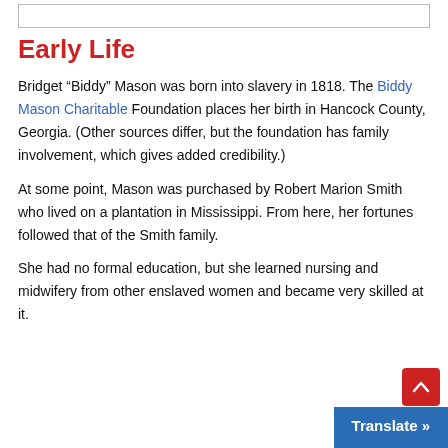[Figure (other): Empty bordered box at top of page]
Early Life
Bridget “Biddy” Mason was born into slavery in 1818. The Biddy Mason Charitable Foundation places her birth in Hancock County, Georgia. (Other sources differ, but the foundation has family involvement, which gives added credibility.)
At some point, Mason was purchased by Robert Marion Smith who lived on a plantation in Mississippi. From here, her fortunes followed that of the Smith family.
She had no formal education, but she learned nursing and midwifery from other enslaved women and became very skilled at it.